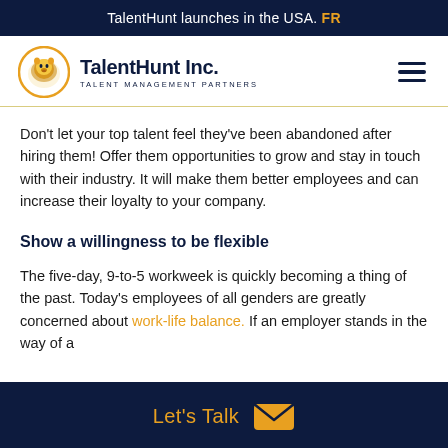TalentHunt launches in the USA. FR
[Figure (logo): TalentHunt Inc. logo with golden lion head in circle and text 'TALENT MANAGEMENT PARTNERS']
Don't let your top talent feel they've been abandoned after hiring them! Offer them opportunities to grow and stay in touch with their industry. It will make them better employees and can increase their loyalty to your company.
Show a willingness to be flexible
The five-day, 9-to-5 workweek is quickly becoming a thing of the past. Today's employees of all genders are greatly concerned about work-life balance. If an employer stands in the way of a
Let's Talk